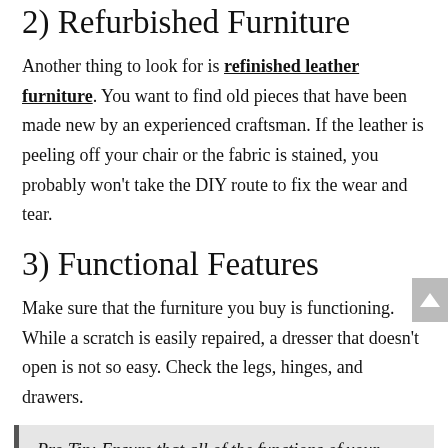2) Refurbished Furniture
Another thing to look for is refinished leather furniture. You want to find old pieces that have been made new by an experienced craftsman. If the leather is peeling off your chair or the fabric is stained, you probably won't take the DIY route to fix the wear and tear.
3) Functional Features
Make sure that the furniture you buy is functioning. While a scratch is easily repaired, a dresser that doesn't open is not so easy. Check the legs, hinges, and drawers.
Pro Tip: Ensure that all of the functions of your